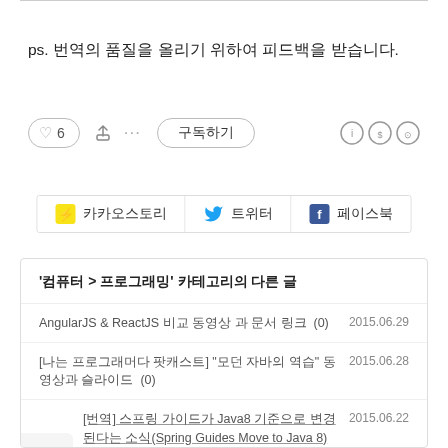ps. 번역의 품질을 올리기 위하여 피드백을 받습니다.
[Figure (infographic): Action bar with like button showing 6 likes, share icon, dots menu, subscribe button, and Creative Commons license icons]
[Figure (infographic): Social sharing buttons: 카카오스토리, 트위터, 페이스북]
'컴퓨터 > 프로그래밍' 카테고리의 다른 글
AngularJS & ReactJS 비교 동영상 과 문서 링크  (0)   2015.06.29
[나는 프로그래머다 팟캐스트] "모던 자바의 역습" 동영상과 슬라이드  (0)   2015.06.28
[번역] 스프링 가이드가 Java8 기준으로 변경된다는 소식(Spring Guides Move to Java 8)  (0)   2015.06.22